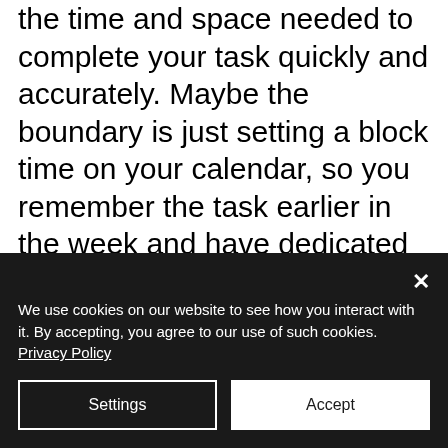the time and space needed to complete your task quickly and accurately. Maybe the boundary is just setting a block time on your calendar, so you remember the task earlier in the week and have dedicated time to do it. The important thing is that you figure out what works for you and politely ask others to help achieve your goal. (Pro Tip: Sometimes, others' helping is by not helping. Don't be afraid to politely decline assistance or not a
We use cookies on our website to see how you interact with it. By accepting, you agree to our use of such cookies. Privacy Policy